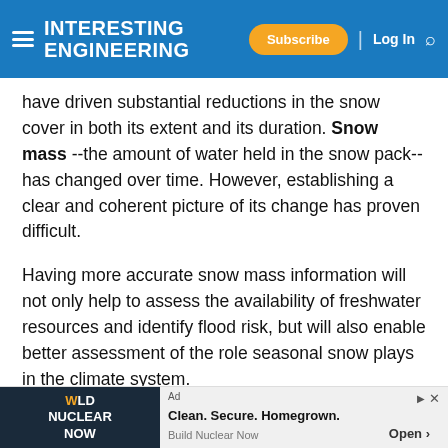INTERESTING ENGINEERING — Subscribe | Log In
have driven substantial reductions in the snow cover in both its extent and its duration. Snow mass --the amount of water held in the snow pack--has changed over time. However, establishing a clear and coherent picture of its change has proven difficult.
Having more accurate snow mass information will not only help to assess the availability of freshwater resources and identify flood risk, but will also enable better assessment of the role seasonal snow plays in the climate system.
Snow could also become a source of electricty, if only there were enough snow in the future. In 2019, UCLA
[Figure (screenshot): Advertisement banner: World Nuclear Now — Clean. Secure. Homegrown. Build Nuclear Now — Open button]